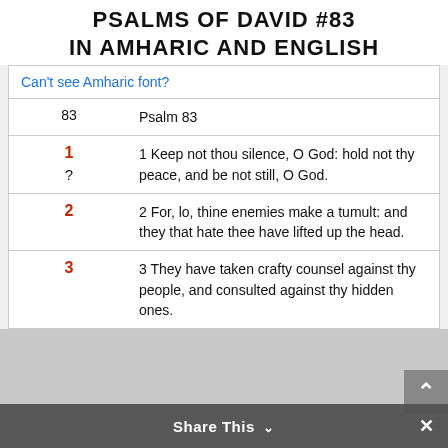PSALMS OF DAVID #83 IN AMHARIC AND ENGLISH
|  | Amharic | English |
| --- | --- | --- |
| Can't see Amharic font? |  |  |
|  | 83 | Psalm 83 |
| 1 | ? | 1 Keep not thou silence, O God: hold not thy peace, and be not still, O God. |
| 2 |  | 2 For, lo, thine enemies make a tumult: and they that hate thee have lifted up the head. |
| 3 |  | 3 They have taken crafty counsel against thy people, and consulted against thy hidden ones. |
Share This ∨  ×